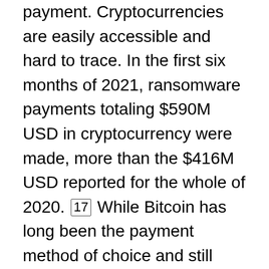payment. Cryptocurrencies are easily accessible and hard to trace. In the first six months of 2021, ransomware payments totaling $590M USD in cryptocurrency were made, more than the $416M USD reported for the whole of 2020. [17] While Bitcoin has long been the payment method of choice and still dominates ransomware demands, we assess that it is very likely that cybercriminals will increasingly demand ransom payments in privacy coins, such as Monero, to further